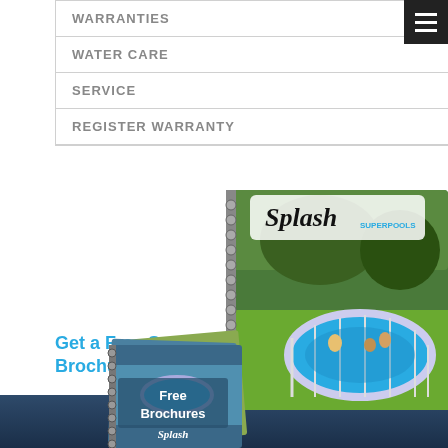WARRANTIES
WATER CARE
SERVICE
REGISTER WARRANTY
Get a Free Splash Pools Brochure
[Figure (photo): Spiral-bound Splash Superpools brochure showing an oval above-ground pool with people swimming, displayed large on the right, with a smaller stack of brochures labeled 'Free Brochures' in the lower center, set against a dark navy background band at the bottom.]